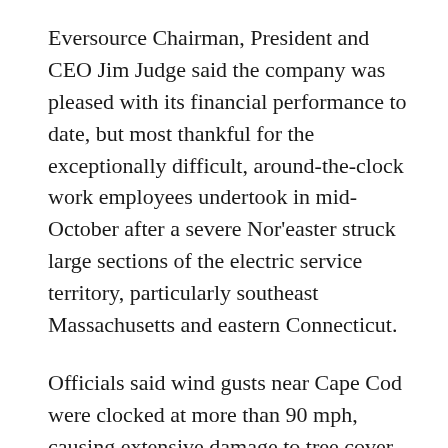Eversource Chairman, President and CEO Jim Judge said the company was pleased with its financial performance to date, but most thankful for the exceptionally difficult, around-the-clock work employees undertook in mid-October after a severe Nor'easter struck large sections of the electric service territory, particularly southeast Massachusetts and eastern Connecticut.
Officials said wind gusts near Cape Cod were clocked at more than 90 mph, causing extensive damage to tree cover and distribution lines. Another severe windstorm struck New England on Halloween night, causing extensive damage, particularly in Connecticut.
“We thank our employees for safely and promptly